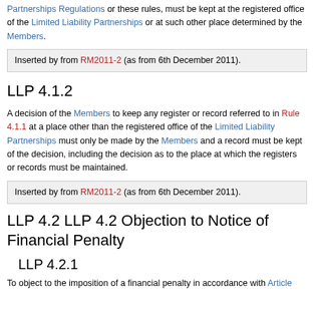Partnerships Regulations or these rules, must be kept at the registered office of the Limited Liability Partnerships or at such other place determined by the Members.
Inserted by from RM2011-2 (as from 6th December 2011).
LLP 4.1.2
A decision of the Members to keep any register or record referred to in Rule 4.1.1 at a place other than the registered office of the Limited Liability Partnerships must only be made by the Members and a record must be kept of the decision, including the decision as to the place at which the registers or records must be maintained.
Inserted by from RM2011-2 (as from 6th December 2011).
LLP 4.2 LLP 4.2 Objection to Notice of Financial Penalty
LLP 4.2.1
To object to the imposition of a financial penalty in accordance with Article...